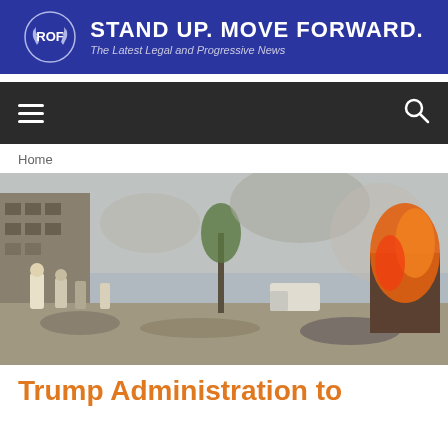[Figure (logo): ROF website banner with circular ROF logo, bold text STAND UP. MOVE FORWARD. and subtitle The Latest Legal and Progressive News on dark blue background]
[Figure (other): Navigation bar with hamburger menu icon on left and search icon on right on dark gray background]
Home
[Figure (photo): War zone photograph showing rescuers and civilians on rubble-strewn street with destroyed buildings and fire/smoke on the right side, likely Syria]
Trump Administration to